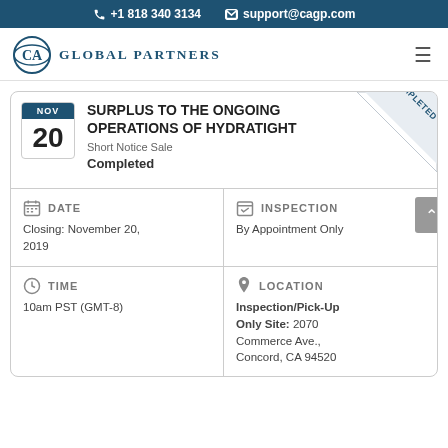+1 818 340 3134  support@cagp.com
[Figure (logo): CA Global Partners logo with circular emblem and text]
SURPLUS TO THE ONGOING OPERATIONS OF HYDRATIGHT
Short Notice Sale
Completed
| DATE | INSPECTION | TIME | LOCATION |
| --- | --- | --- | --- |
| Closing: November 20, 2019 | By Appointment Only |
| 10am PST (GMT-8) | Inspection/Pick-Up Only Site: 2070 Commerce Ave., Concord, CA 94520 |